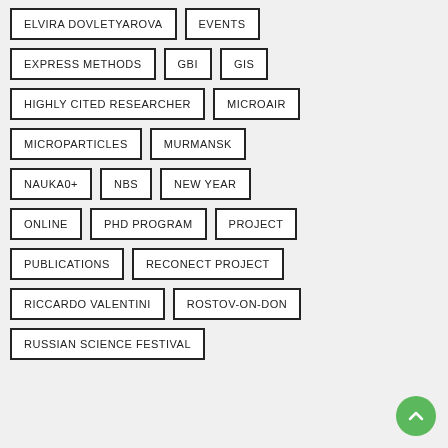ELVIRA DOVLETYAROVA
EVENTS
EXPRESS METHODS
GBI
GIS
HIGHLY CITED RESEARCHER
MICROAIR
MICROPARTICLES
MURMANSK
NAUKA0+
NBS
NEW YEAR
ONLINE
PHD PROGRAM
PROJECT
PUBLICATIONS
RECONECT PROJECT
RICCARDO VALENTINI
ROSTOV-ON-DON
RUSSIAN SCIENCE FESTIVAL